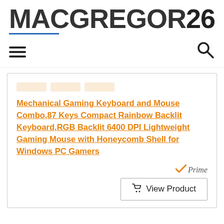[Figure (logo): MACGREGOR26 logo in bold dark gray letters with blue underline beneath 'MACGREGOR']
Navigation bar with hamburger menu icon and search icon
Mechanical Gaming Keyboard and Mouse Combo,87 Keys Compact Rainbow Backlit Keyboard,RGB Backlit 6400 DPI Lightweight Gaming Mouse with Honeycomb Shell for Windows PC Gamers
[Figure (logo): Amazon Prime checkmark badge with italic 'Prime' text in gray]
View Product